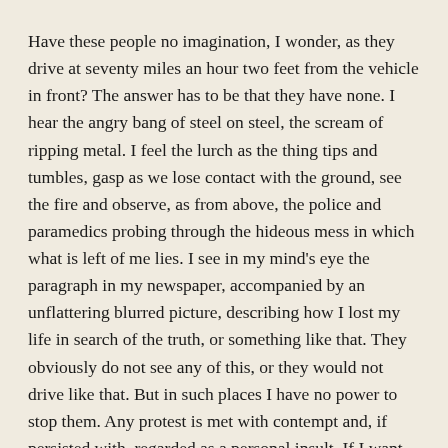Have these people no imagination, I wonder, as they drive at seventy miles an hour two feet from the vehicle in front? The answer has to be that they have none. I hear the angry bang of steel on steel, the scream of ripping metal. I feel the lurch as the thing tips and tumbles, gasp as we lose contact with the ground, see the fire and observe, as from above, the police and paramedics probing through the hideous mess in which what is left of me lies. I see in my mind's eye the paragraph in my newspaper, accompanied by an unflattering blurred picture, describing how I lost my life in search of the truth, or something like that. They obviously do not see any of this, or they would not drive like that. But in such places I have no power to stop them. Any protest is met with contempt and, if persisted with, regarded as a personal insult. If I want to get to my exciting destination, some of the journey is always going to be like that.